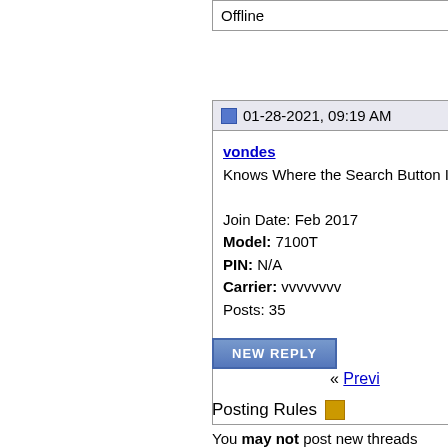Offline
01-28-2021, 09:19 AM
vondes
Knows Where the Search Button Is

Join Date: Feb 2017
Model: 7100T
PIN: N/A
Carrier: vvvvvvvv
Posts: 35

Offline
Re: N

Can any
http://tra
articles o
bit confu
traders. 
suitable 
for your
NEW REPLY
« Previ
Posting Rules
You may not post new threads